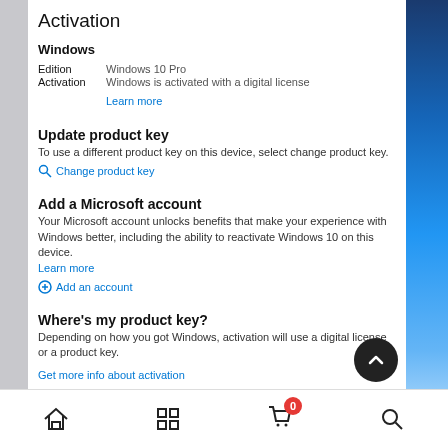Activation
Windows
Edition    Windows 10 Pro
Activation    Windows is activated with a digital license
Learn more
Update product key
To use a different product key on this device, select change product key.
Change product key
Add a Microsoft account
Your Microsoft account unlocks benefits that make your experience with Windows better, including the ability to reactivate Windows 10 on this device.
Learn more
Add an account
Where's my product key?
Depending on how you got Windows, activation will use a digital license or a product key.
Get more info about activation
[Figure (screenshot): Windows Settings Activation page showing Windows edition, product key update option, Microsoft account section, and product key info section]